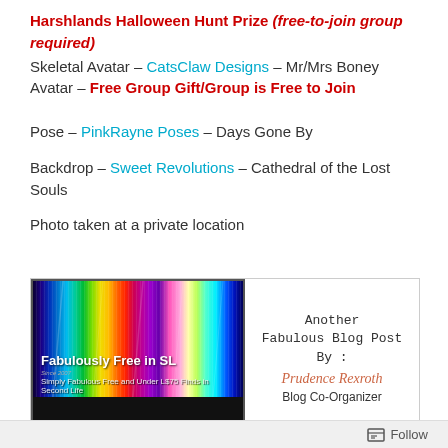Harshlands Halloween Hunt Prize (free-to-join group required) Skeletal Avatar – CatsClaw Designs – Mr/Mrs Boney Avatar – Free Group Gift/Group is Free to Join
Pose – PinkRayne Poses – Days Gone By
Backdrop – Sweet Revolutions – Cathedral of the Lost Souls
Photo taken at a private location
[Figure (infographic): Fabulously Free in SL blog banner with rainbow striped background, title text 'Fabulously Free in SL', subtitle 'Simply Fabulous Free and Under L$75 Finds in Second Life', alongside text 'Another Fabulous Blog Post By: Prudence Rexroth, Blog Co-Organizer']
Follow